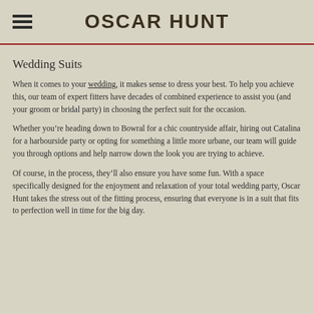OSCAR HUNT
Wedding Suits
When it comes to your wedding, it makes sense to dress your best. To help you achieve this, our team of expert fitters have decades of combined experience to assist you (and your groom or bridal party) in choosing the perfect suit for the occasion.
Whether you’re heading down to Bowral for a chic countryside affair, hiring out Catalina for a harbourside party or opting for something a little more urbane, our team will guide you through options and help narrow down the look you are trying to achieve.
Of course, in the process, they’ll also ensure you have some fun. With a space specifically designed for the enjoyment and relaxation of your total wedding party, Oscar Hunt takes the stress out of the fitting process, ensuring that everyone is in a suit that fits to perfection well in time for the big day.